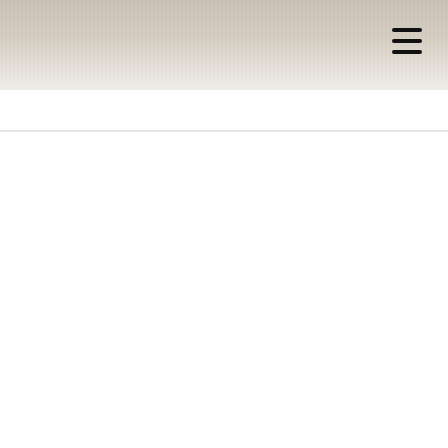[Figure (photo): Hero banner image of a beach/seaside scene with sandy, muted tones at top of page]
The Hidden Seaside
vacation secret
If you're on the lookout for an amazing trip spot then look no further than Seaside Heights New Jersey. Holiday weeks (particularly vacation weekends), spring break, and the summer months are usually probably the most crowded occasions at Disney World. Traveling over water can be the only option if you wish to see the key beaches of Keewaydin Island. A Dallas-primarily based father and his 8-yr-previous son wished to go on a Father's Day trip, and San Diego was the right choice.